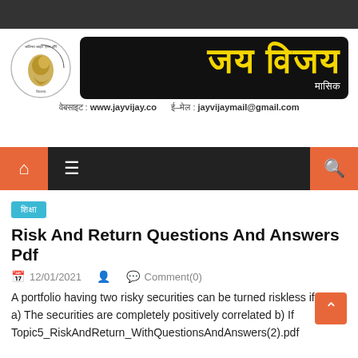[Figure (logo): Jai Vijay magazine header with conch shell logo and Hindi title banner. Website: www.jayvijay.co, Email: jayvijaymail@gmail.com]
[Figure (other): Navigation bar with home icon (orange), hamburger menu, and search icon (orange) on dark background]
शिक्षा
Risk And Return Questions And Answers Pdf
12/01/2021   Comment(0)
A portfolio having two risky securities can be turned riskless if a) The securities are completely positively correlated b) If Topic5_RiskAndReturn_WithQuestionsAndAnswers(2).pdf